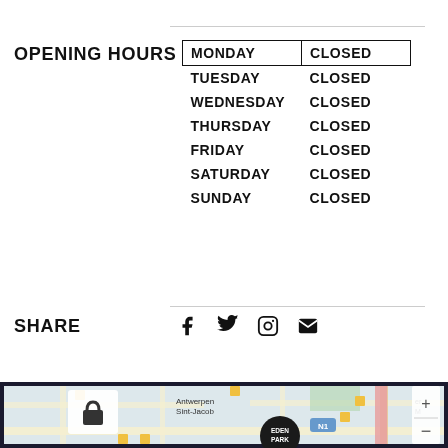OPENING HOURS
| DAY | STATUS |
| --- | --- |
| MONDAY | CLOSED |
| TUESDAY | CLOSED |
| WEDNESDAY | CLOSED |
| THURSDAY | CLOSED |
| FRIDAY | CLOSED |
| SATURDAY | CLOSED |
| SUNDAY | CLOSED |
SHARE
[Figure (infographic): Social share icons: Facebook, Twitter, Instagram, Email]
[Figure (map): Map showing location near Antwerpen Sint-Jacob with EDEN PARK marker, Meir street visible, zoom controls (+/-), and lock icon]